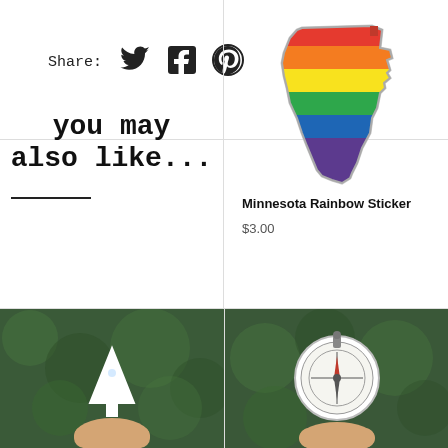Share: [Twitter] [Facebook] [Pinterest]
you may also like...
[Figure (illustration): Minnesota state outline sticker with rainbow diagonal stripes, on white background with slight drop shadow]
Minnesota Rainbow Sticker
$3.00
[Figure (photo): Hand holding a white pine tree ornament/sticker against bokeh green background]
[Figure (photo): Hand holding a circular compass ornament/sticker against bokeh green background]